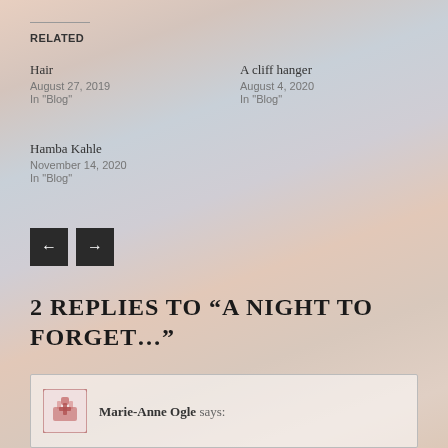RELATED
Hair
August 27, 2019
In "Blog"
A cliff hanger
August 4, 2020
In "Blog"
Hamba Kahle
November 14, 2020
In "Blog"
2 REPLIES TO “A NIGHT TO FORGET…”
Marie-Anne Ogle says: